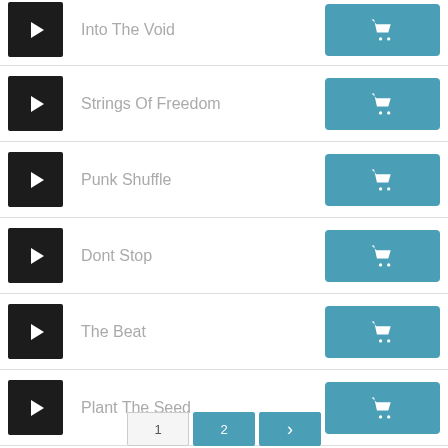Into The Void
Strings Of Freedom
Punk Shuffle
Dont Stop
The Beat
Plant The Seed